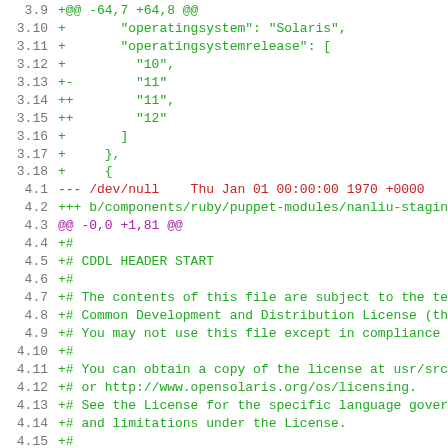diff code view showing git patch/diff content with line numbers, green additions, red deletions, and purple hunk headers
3.9  +@@ -64,7 +64,8 @@
3.10 +       "operatingsystem": "Solaris",
3.11 +       "operatingsystemrelease": [
3.12 +         "10",
3.13 +-        "11"
3.14 ++        "11",
3.15 ++        "12"
3.16 +       ]
3.17 +     },
3.18 +     {
4.1  --- /dev/null   Thu Jan 01 00:00:00 1970 +0000
4.2  +++ b/components/ruby/puppet-modules/nanliu-staging.
4.3  @@ -0,0 +1,81 @@
4.4  +#
4.5  +# CDDL HEADER START
4.6  +#
4.7  +# The contents of this file are subject to the ter
4.8  +# Common Development and Distribution License (the
4.9  +# You may not use this file except in compliance w.
4.10 +#
4.11 +# You can obtain a copy of the license at usr/src/
4.12 +# or http://www.opensolaris.org/os/licensing.
4.13 +# See the License for the specific language govern.
4.14 +# and limitations under the License.
4.15 +#
4.16 +# When distributing Covered Code, include this CDD
4.17 +# file and include the License file at usr/src/OPE
4.18 +# If applicable, add the following below this CDDL
4.19 +# fields enclosed by brackets "[]" replaced with ye
4.20 +# information: Portions Copyright [yyyy] [name of
4.21 +#
4.22 +# CDDL HEADER END
4.23 +#